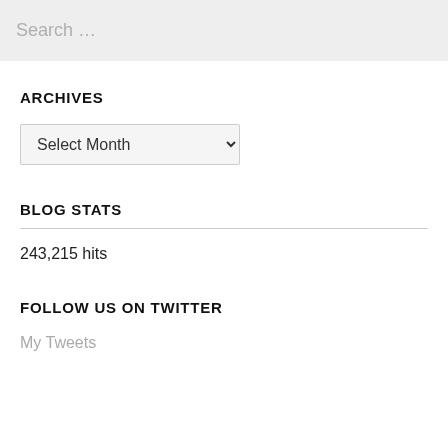Search …
ARCHIVES
Select Month
BLOG STATS
243,215 hits
FOLLOW US ON TWITTER
My Tweets